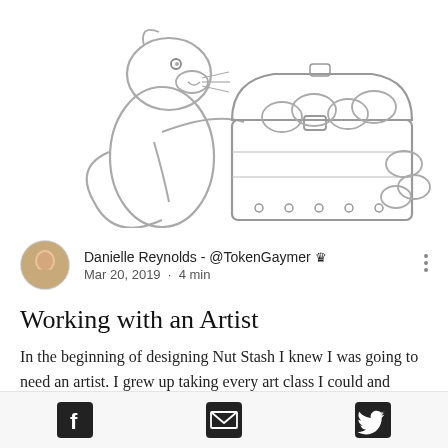[Figure (illustration): Pencil sketch illustration of a squirrel or otter-like cartoon animal sitting beside an open treasure chest filled with nuts/acorns. The animal has a friendly/mischievous expression. Some nuts are also scattered outside the chest on the right side.]
Danielle Reynolds - @TokenGaymer 👑
Mar 20, 2019 · 4 min
Working with an Artist
In the beginning of designing Nut Stash I knew I was going to need an artist. I grew up taking every art class I could and
[Figure (infographic): Bottom share bar with three icons: Facebook (f), Email (envelope), Twitter (bird)]